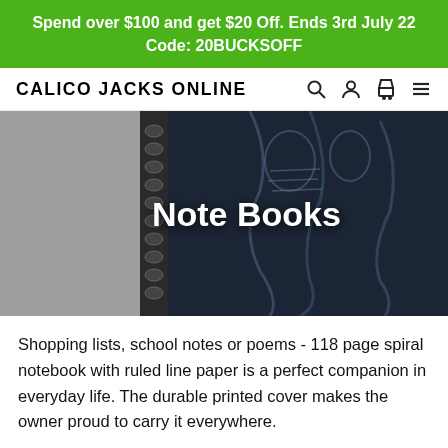Spend over $100 and get $20 Off. Ends 3rd July 22
Code: 20BUCKSOFF
CALICO JACKS ONLINE
[Figure (photo): A dark-covered spiral notebook with gothic/horror artwork featuring skeletons and tentacles. Overlaid white bold text reads 'Note Books'.]
Shopping lists, school notes or poems - 118 page spiral notebook with ruled line paper is a perfect companion in everyday life. The durable printed cover makes the owner proud to carry it everywhere.
ORDENAR POR